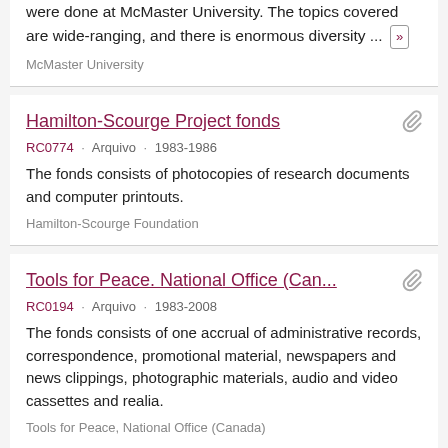were done at McMaster University. The topics covered are wide-ranging, and there is enormous diversity ... »
McMaster University
Hamilton-Scourge Project fonds
RC0774 · Arquivo · 1983-1986
The fonds consists of photocopies of research documents and computer printouts.
Hamilton-Scourge Foundation
Tools for Peace. National Office (Can...
RC0194 · Arquivo · 1983-2008
The fonds consists of one accrual of administrative records, correspondence, promotional material, newspapers and news clippings, photographic materials, audio and video cassettes and realia.
Tools for Peace, National Office (Canada)